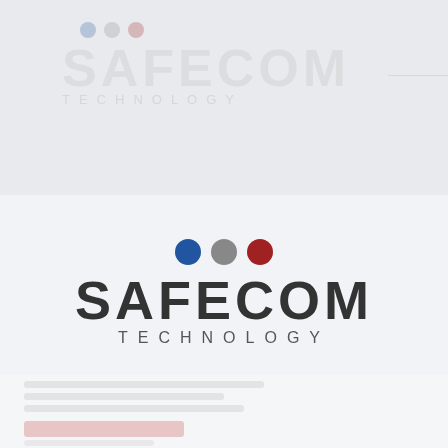[Figure (logo): Safecom Technology logo with three colored dots (blue, gray, red) above the company name in dark gray bold text, with TECHNOLOGY in spaced letters below]
[Figure (screenshot): Background watermark showing faded Safecom Technology logo in light gray tones at top of page, with partial UI elements (loading spinner, text blocks, button) visible below]